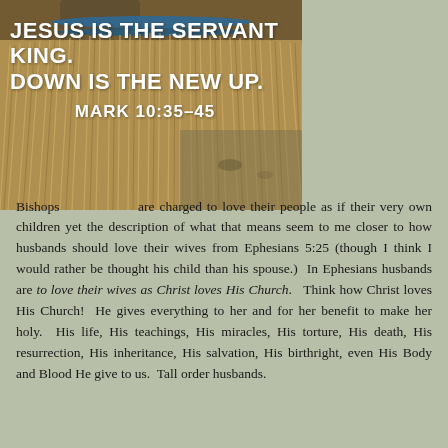[Figure (photo): Photo of broom bristles (straw broom close-up) with overlaid bold white text reading 'JESUS IS THE SERVANT KING. DOWN IS THE NEW UP.' and 'MARK 10:35–45']
JESUS IS THE SERVANT KING. DOWN IS THE NEW UP.
MARK 10:35–45
Bishops are charged to love their people as if their very own children yet the description of what that means seem to me closer to how husbands should love their wives from Ephesians 5:25 (though I think I would rather be thought his child than his spouse.)  In Ephesians husbands are to love their wives as Christ loves His Church.  Think how Christ loves His Church!  He gives everything to her and for her benefit to make her holy.  His life, His teachings, His miracles, His torture, His death, His resurrection, His inheritance, His salvation, His birthright, even His Body and Blood He give to us.  Tall order husbands.